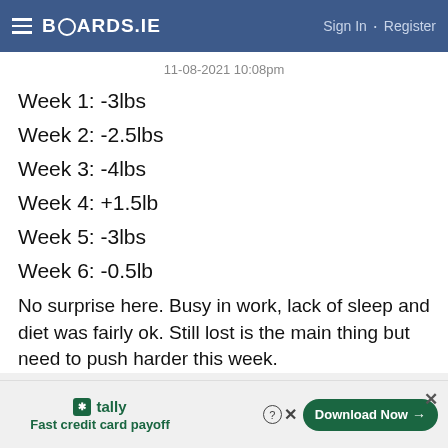BOARDS.IE  Sign In · Register
11-08-2021 10:08pm
Week 1: -3lbs
Week 2: -2.5lbs
Week 3: -4lbs
Week 4: +1.5lb
Week 5: -3lbs
Week 6: -0.5lb
No surprise here. Busy in work, lack of sleep and diet was fairly ok. Still lost is the main thing but need to push harder this week.
[Figure (screenshot): Advertisement banner: Tally - Fast credit card payoff, with Download Now button]